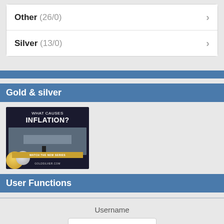Other (26/0)
Silver (13/0)
Gold & silver
[Figure (illustration): Advertisement image showing a Federal Reserve building with text 'WHAT CAUSES INFLATION?' and 'WATCH THE NEW SERIES' button with GoldSilver.com branding, gold and silver coins in foreground]
User Functions
Username